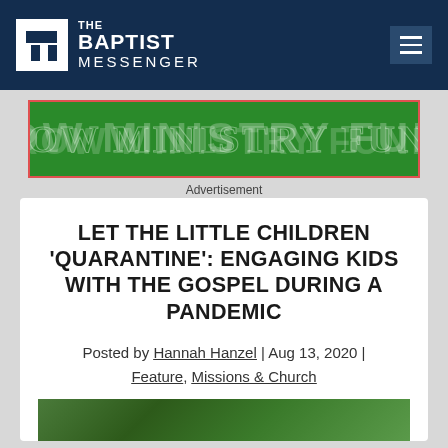THE BAPTIST MESSENGER
[Figure (illustration): Green banner advertisement with text 'GROW MINISTRY FUNDS' in decorative lettering]
Advertisement
LET THE LITTLE CHILDREN 'QUARANTINE': ENGAGING KIDS WITH THE GOSPEL DURING A PANDEMIC
Posted by Hannah Hanzel | Aug 13, 2020 | Feature, Missions & Church
[Figure (photo): Partial photo visible at bottom of page]